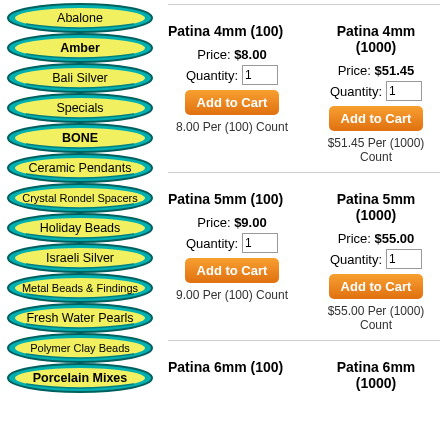Abalone
Amber
Bali Silver
Specials
BONE
Ceramic Pendants
Crystal Rondel Spacers
Holiday Beads
Israeli Silver
Metal Beads & Findings
Fresh Water Pearls
Polymer Clay Beads
Porcelain Mixes
Patina 4mm (100) Price: $8.00 Quantity: 1 Add to Cart 8.00 Per (100) Count
Patina 4mm (1000) Price: $51.45 Quantity: 1 Add to Cart $51.45 Per (1000) Count
Patina 5mm (100) Price: $9.00 Quantity: 1 Add to Cart 9.00 Per (100) Count
Patina 5mm (1000) Price: $55.00 Quantity: 1 Add to Cart $55.00 Per (1000) Count
Patina 6mm (100)
Patina 6mm (1000)